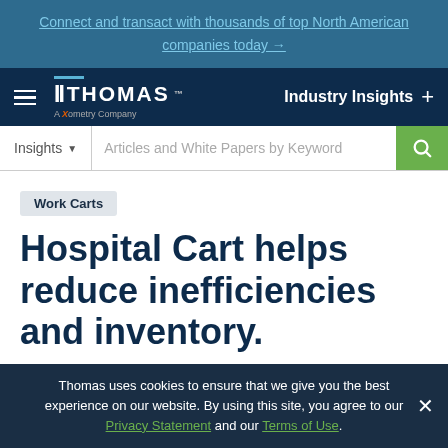Connect and transact with thousands of top North American companies today →
[Figure (logo): Thomas — A Xometry Company logo with navigation bar showing Industry Insights]
[Figure (screenshot): Search bar with Insights dropdown and Articles and White Papers by Keyword input]
Work Carts
Hospital Cart helps reduce inefficiencies and inventory.
Omnicell Co. | Jul 29, 2008 |
Thomas uses cookies to ensure that we give you the best experience on our website. By using this site, you agree to our Privacy Statement and our Terms of Use.